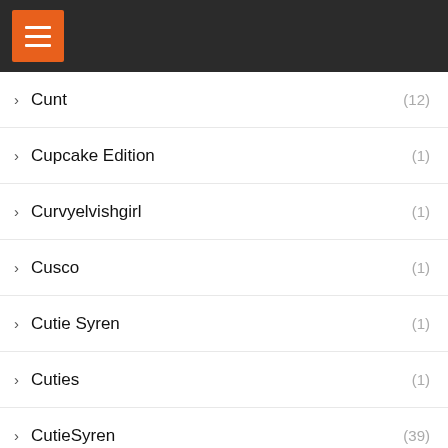Navigation menu header bar
Cunt (12)
Cupcake Edition (1)
Curvyelvishgirl (1)
Cusco (1)
Cutie Syren (1)
Cuties (1)
CutieSyren (39)
CutieSyren scat (1)
CutieSyren scat porn (1)
CutieSyren watch online (1)
Cynthiagarcia1212 (3)
Dairy (1)
Damazonia (2)